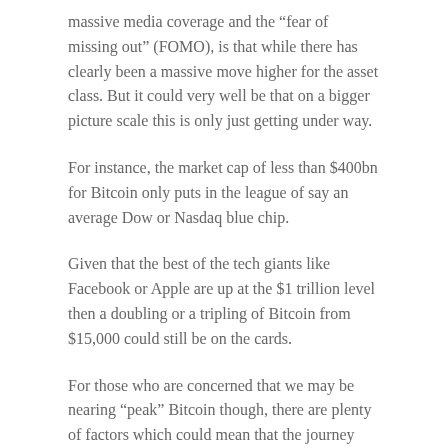massive media coverage and the “fear of missing out” (FOMO), is that while there has clearly been a massive move higher for the asset class. But it could very well be that on a bigger picture scale this is only just getting under way.
For instance, the market cap of less than $400bn for Bitcoin only puts in the league of say an average Dow or Nasdaq blue chip.
Given that the best of the tech giants like Facebook or Apple are up at the $1 trillion level then a doubling or a tripling of Bitcoin from $15,000 could still be on the cards.
For those who are concerned that we may be nearing “peak” Bitcoin though, there are plenty of factors which could mean that the journey higher is set to continue.